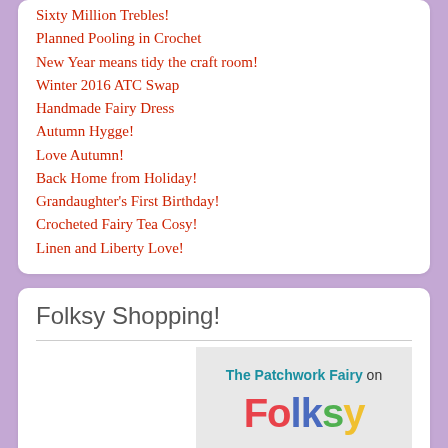Sixty Million Trebles!
Planned Pooling in Crochet
New Year means tidy the craft room!
Winter 2016 ATC Swap
Handmade Fairy Dress
Autumn Hygge!
Love Autumn!
Back Home from Holiday!
Grandaughter's First Birthday!
Crocheted Fairy Tea Cosy!
Linen and Liberty Love!
Folksy Shopping!
[Figure (logo): Folksy shopping banner showing 'The Patchwork Fairy on Folksy' with colourful Folksy logo text on grey background]